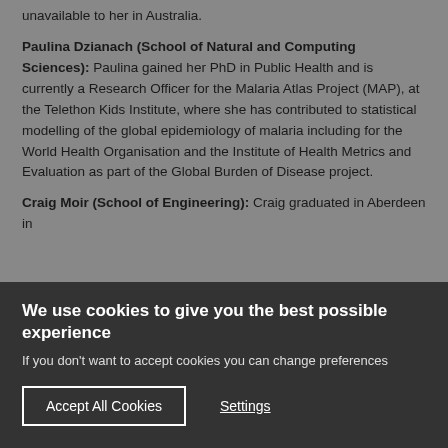unavailable to her in Australia.
Paulina Dzianach (School of Natural and Computing Sciences): Paulina gained her PhD in Public Health and is currently a Research Officer for the Malaria Atlas Project (MAP), at the Telethon Kids Institute, where she has contributed to statistical modelling of the global epidemiology of malaria including for the World Health Organisation and the Institute of Health Metrics and Evaluation as part of the Global Burden of Disease project.
Craig Moir (School of Engineering): Craig graduated in Aberdeen in
We use cookies to give you the best possible experience
If you don't want to accept cookies you can change preferences
Accept All Cookies
Settings